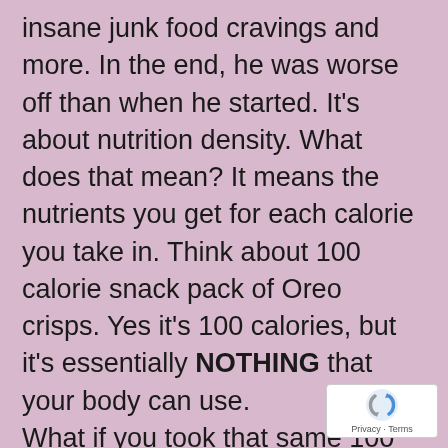insane junk food cravings and more. In the end, he was worse off than when he started. It's about nutrition density. What does that mean? It means the nutrients you get for each calorie you take in. Think about 100 calorie snack pack of Oreo crisps. Yes it's 100 calories, but it's essentially NOTHING that your body can use.
What if you took that same 100 calories in a dark leafy green, fresh fruit, Shakeology, or avocado? A huge amount of nutrients that your body can use, and none of the chemicals it has to work hard to get rid of.
Plus, these whole foods aren't going to give
[Figure (logo): reCAPTCHA badge with Privacy and Terms text]